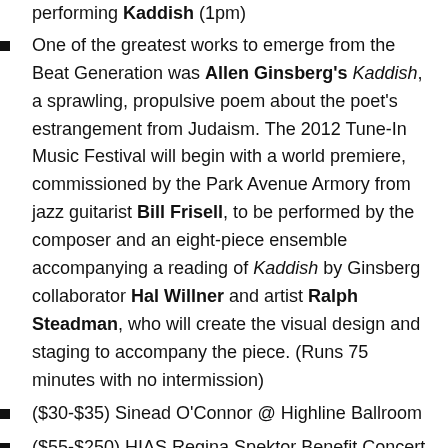One of the greatest works to emerge from the Beat Generation was Allen Ginsberg's Kaddish, a sprawling, propulsive poem about the poet's estrangement from Judaism. The 2012 Tune-In Music Festival will begin with a world premiere, commissioned by the Park Avenue Armory from jazz guitarist Bill Frisell, to be performed by the composer and an eight-piece ensemble accompanying a reading of Kaddish by Ginsberg collaborator Hal Willner and artist Ralph Steadman, who will create the visual design and staging to accompany the piece. (Runs 75 minutes with no intermission)
($30-$35) Sinead O’Connor @ Highline Ballroom
($55-$250) HIAS Regina Spektor Benefit Concert @ Rose Theater at Lincoln Center